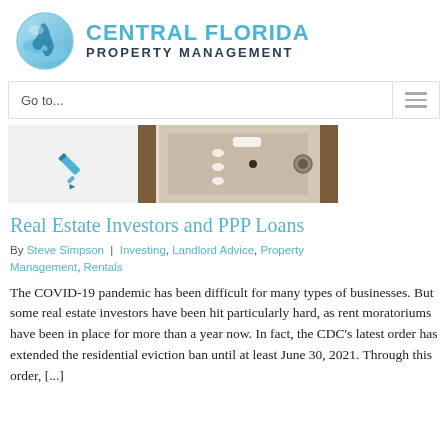[Figure (logo): Central Florida Property Management logo with globe icon and text]
[Figure (screenshot): Navigation bar with 'Go to...' dropdown and hamburger menu icon]
[Figure (photo): Two-panel image strip: left panel shows blue pen icon on grey background; right panel shows a photo of what appears to be a safe or lockbox door]
Real Estate Investors and PPP Loans
By Steve Simpson | Investing, Landlord Advice, Property Management, Rentals
The COVID-19 pandemic has been difficult for many types of businesses. But some real estate investors have been hit particularly hard, as rent moratoriums have been in place for more than a year now. In fact, the CDC's latest order has extended the residential eviction ban until at least June 30, 2021. Through this order, [...]